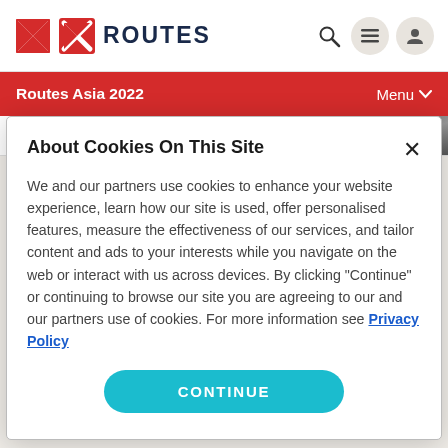ROUTES
Routes Asia 2022   Menu
Chief Executive Officer, IPP Travel Retail
About Cookies On This Site
We and our partners use cookies to enhance your website experience, learn how our site is used, offer personalised features, measure the effectiveness of our services, and tailor content and ads to your interests while you navigate on the web or interact with us across devices. By clicking "Continue" or continuing to browse our site you are agreeing to our and our partners use of cookies. For more information see Privacy Policy
CONTINUE